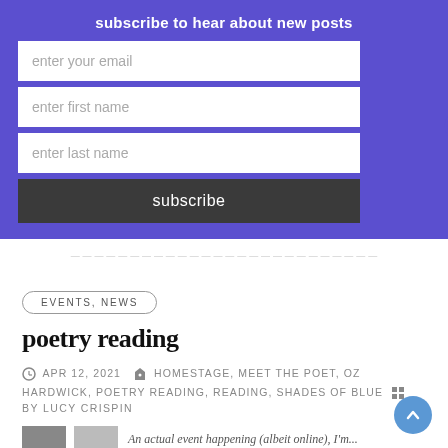subscribe to hear about new posts
enter your email
enter first name
enter last name
subscribe
EVENTS, NEWS
poetry reading
APR 12, 2021   HOMESTAGE, MEET THE POET, OZ HARDWICK, POETRY READING, READING, SHADES OF BLUE
BY LUCY CRISPIN
An actual event happening (albeit online), I'm...